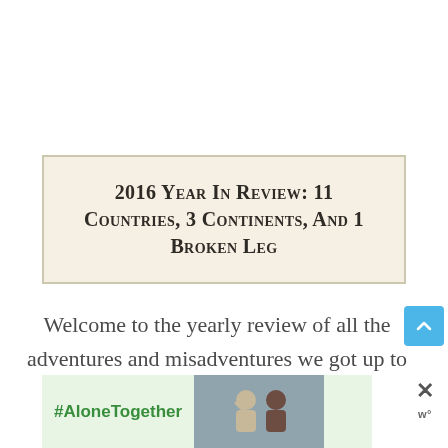2016 Year In Review: 11 Countries, 3 Continents, And 1 Broken Leg
Welcome to the yearly review of all the adventures and misadventures we got up to in 2016! At the end …
[Figure (other): Advertisement banner with #AloneTogether hashtag and photo of two people, with close button]